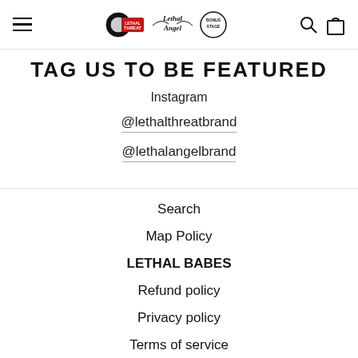Lethal Threat / Lethal Angel / Bonus Stage logo header with hamburger menu and search/cart icons
TAG US TO BE FEATURED
Instagram
@lethalthreatbrand
@lethalangelbrand
Search
Map Policy
LETHAL BABES
Refund policy
Privacy policy
Terms of service